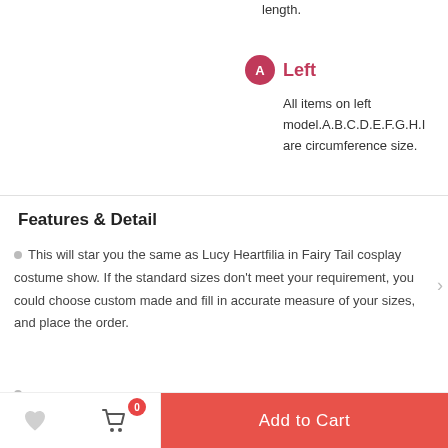length.
Left
All items on left model.A.B.C.D.E.F.G.H.I are circumference size.
Features & Detail
This will star you the same as Lucy Heartfilia in Fairy Tail cosplay costume show. If the standard sizes don't meet your requirement, you could choose custom made and fill in accurate measure of your sizes, and place the order.
© 2008-2021 Trustedeal.com Full Rights Reserved.
Add to Cart